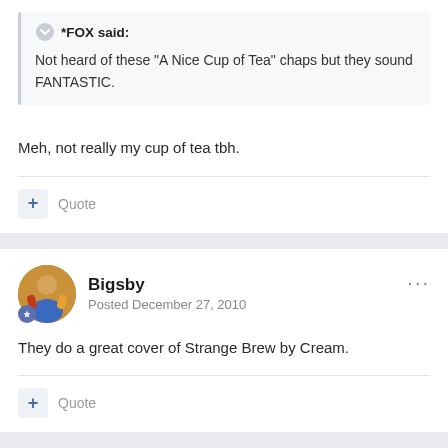*FOX said:
Not heard of these "A Nice Cup of Tea" chaps but they sound FANTASTIC.
Meh, not really my cup of tea tbh.
+ Quote
Bigsby
Posted December 27, 2010
They do a great cover of Strange Brew by Cream.
+ Quote